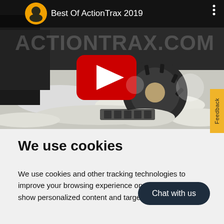[Figure (screenshot): YouTube video thumbnail for 'Best Of ActionTrax 2019' showing a vehicle tire in deep snow with a YouTube play button overlay. The ActionTrax.com logo is visible in the top area. A yellow 'Feedback' tab appears on the right side.]
We use cookies
We use cookies and other tracking technologies to improve your browsing experience on our website, to show personalized content and targeted ads, to
Chat with us